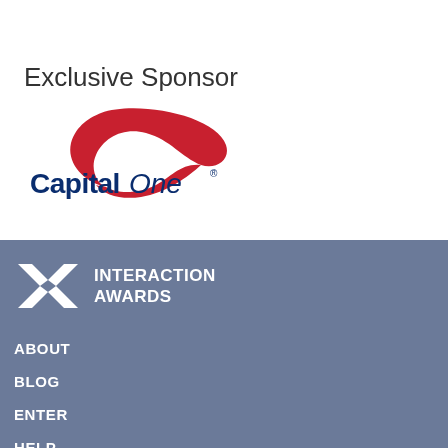Exclusive Sponsor
[Figure (logo): Capital One logo with red swoosh above the text 'CapitalOne' in dark blue with registered trademark symbol]
[Figure (logo): Interaction Awards logo: stylized X icon in white on blue-grey background next to text 'INTERACTION AWARDS']
ABOUT
BLOG
ENTER
HELP
SPONSORSHIP